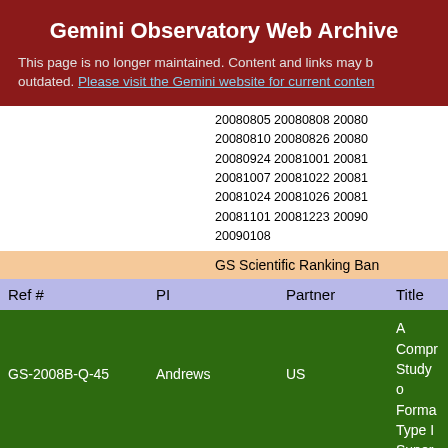Gemini Observatory Web Archive
This page is no longer maintained. Content and links may be outdated. Please visit the Gemini website for current content
20080805 20080808 20080810 20080826 20080924 20081001 20081007 20081022 20081024 20081026 20081101 20081223 20090108
GS Scientific Ranking Band
| Ref # | PI | Partner | Title |
| --- | --- | --- | --- |
| GS-2008B-Q-45 | Andrews | US | A Compre Study of Forma Type I Super |